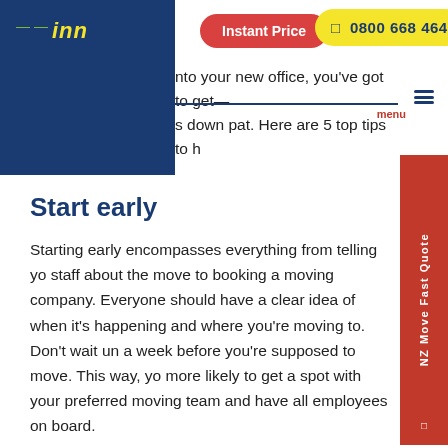[Figure (logo): Blue square logo block with yellow italic text 'inn' and green dashes]
Instant Price | 0800 668 464
into your new office, you've got to get
s down pat. Here are 5 top tips to h
Start early
Starting early encompasses everything from telling yo staff about the move to booking a moving company. Everyone should have a clear idea of when it's happening and where you're moving to. Don't wait un a week before you're supposed to move. This way, yo more likely to get a spot with your preferred moving team and have all employees on board.
Hire the best team possible